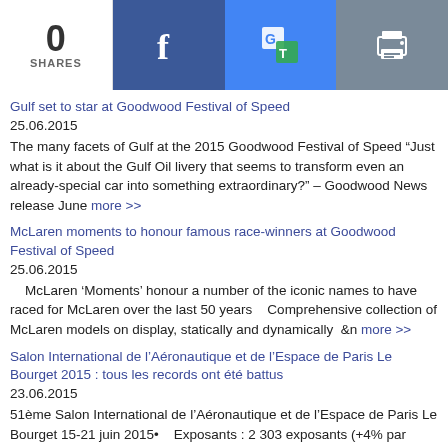0 SHARES | Facebook | Google Translate | Print
Gulf set to star at Goodwood Festival of Speed
25.06.2015
The many facets of Gulf at the 2015 Goodwood Festival of Speed “Just what is it about the Gulf Oil livery that seems to transform even an already-special car into something extraordinary?” – Goodwood News release June more >>
McLaren moments to honour famous race-winners at Goodwood Festival of Speed
25.06.2015
McLaren ‘Moments’ honour a number of the iconic names to have raced for McLaren over the last 50 years    Comprehensive collection of McLaren models on display, statically and dynamically  &n more >>
Salon International de l’Aéronautique et de l’Espace de Paris Le Bourget 2015 : tous les records ont été battus
23.06.2015
51ème Salon International de l’Aéronautique et de l’Espace de Paris Le Bourget 15-21 juin 2015•    Exposants : 2 303 exposants (+4% par rapport à 2013) en provenance de 48 pays (44 pays en 2013) more >>
Seven Mercedes-Benz 300 SLRs as visiting stars at the Goodwood Festival of Speed
23.06.2015